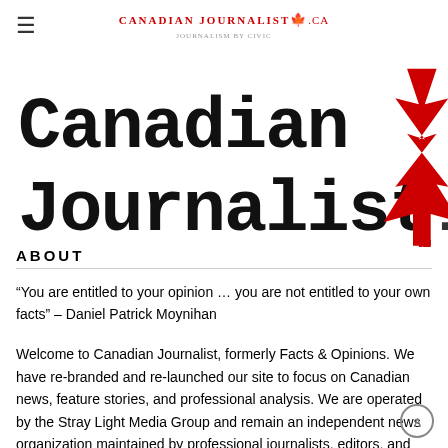≡  CANADIAN JOURNALIST.CA
[Figure (logo): Canadian Journalist.ca logo with large typewriter-style text and a red maple leaf overlapping the text]
ABOUT
"You are entitled to your opinion … you are not entitled to your own facts" – Daniel Patrick Moynihan
Welcome to Canadian Journalist, formerly Facts & Opinions. We have re-branded and re-launched our site to focus on Canadian news, feature stories, and professional analysis. We are operated by the Stray Light Media Group and remain an independent news organization maintained by professional journalists, editors, and media producers. We strive to bring you the best in trusted, professional content. Please subscri